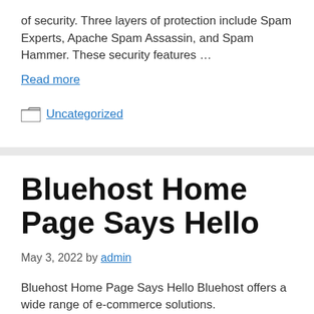of security. Three layers of protection include Spam Experts, Apache Spam Assassin, and Spam Hammer. These security features …
Read more
Uncategorized
Bluehost Home Page Says Hello
May 3, 2022 by admin
Bluehost Home Page Says Hello Bluehost offers a wide range of e-commerce solutions.